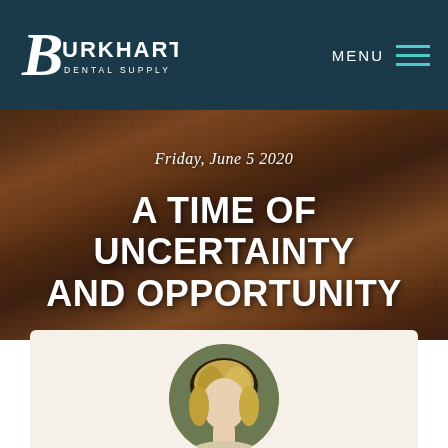[Figure (logo): Burkhart Dental Supply logo in white on dark teal navbar]
MENU
Friday, June 5 2020
A TIME OF UNCERTAINTY AND OPPORTUNITY
[Figure (photo): Circular portrait photo of a blonde woman, partially visible at bottom of page]